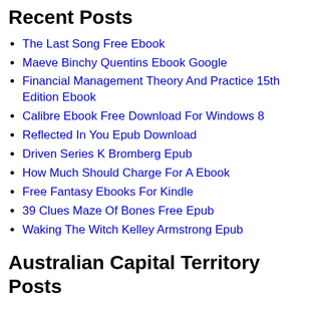Recent Posts
The Last Song Free Ebook
Maeve Binchy Quentins Ebook Google
Financial Management Theory And Practice 15th Edition Ebook
Calibre Ebook Free Download For Windows 8
Reflected In You Epub Download
Driven Series K Bromberg Epub
How Much Should Charge For A Ebook
Free Fantasy Ebooks For Kindle
39 Clues Maze Of Bones Free Epub
Waking The Witch Kelley Armstrong Epub
Australian Capital Territory Posts